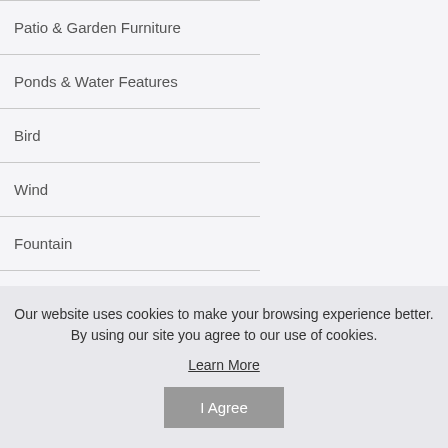Patio & Garden Furniture
Ponds & Water Features
Bird
Wind
Fountain
Decorative Stepping Stone
Brands
This stunning water featu soothing sight and sound...
Our website uses cookies to make your browsing experience better. By using our site you agree to our use of cookies.
Learn More
I Agree